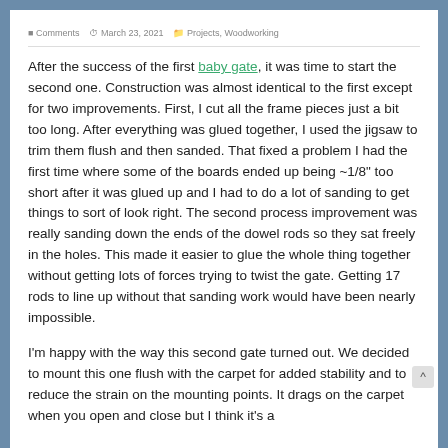After the success of the first baby gate, it was time to start the second one. Construction was almost identical to the first except for two improvements. First, I cut all the frame pieces just a bit too long. After everything was glued together, I used the jigsaw to trim them flush and then sanded. That fixed a problem I had the first time where some of the boards ended up being ~1/8" too short after it was glued up and I had to do a lot of sanding to get things to sort of look right. The second process improvement was really sanding down the ends of the dowel rods so they sat freely in the holes. This made it easier to glue the whole thing together without getting lots of forces trying to twist the gate. Getting 17 rods to line up without that sanding work would have been nearly impossible.
I'm happy with the way this second gate turned out. We decided to mount this one flush with the carpet for added stability and to reduce the strain on the mounting points. It drags on the carpet when you open and close but I think it's a